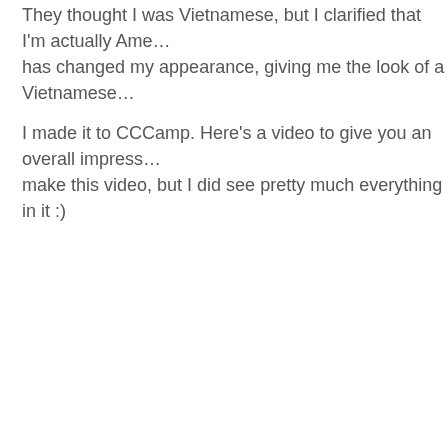They thought I was Vietnamese, but I clarified that I'm actually Ame… has changed my appearance, giving me the look of a Vietnamese…
I made it to CCCamp. Here's a video to give you an overall impress… make this video, but I did see pretty much everything in it :)